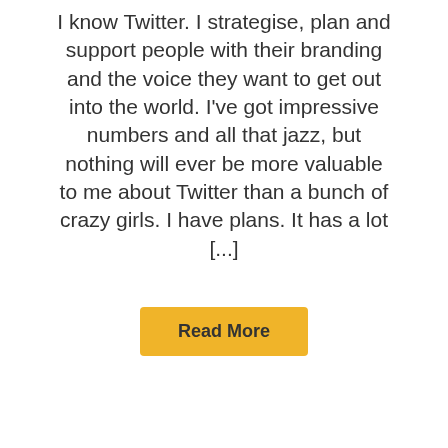I know Twitter. I strategise, plan and support people with their branding and the voice they want to get out into the world. I've got impressive numbers and all that jazz, but nothing will ever be more valuable to me about Twitter than a bunch of crazy girls. I have plans. It has a lot [...]
Read More